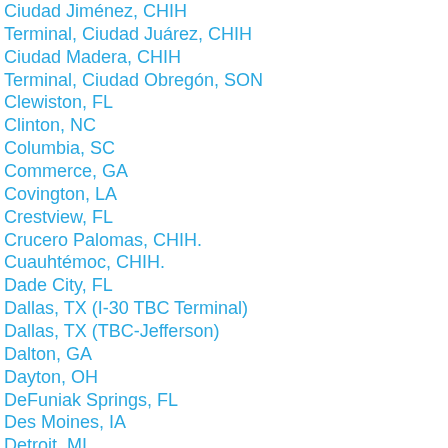Ciudad Jiménez, CHIH
Terminal, Ciudad Juárez, CHIH
Ciudad Madera, CHIH
Terminal, Ciudad Obregón, SON
Clewiston, FL
Clinton, NC
Columbia, SC
Commerce, GA
Covington, LA
Crestview, FL
Crucero Palomas, CHIH.
Cuauhtémoc, CHIH.
Dade City, FL
Dallas, TX (I-30 TBC Terminal)
Dallas, TX (TBC-Jefferson)
Dalton, GA
Dayton, OH
DeFuniak Springs, FL
Des Moines, IA
Detroit, MI
Dickson, TN
Dillon, SC
Dover, FL